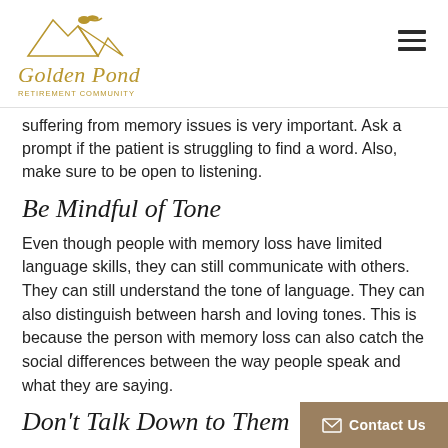Golden Pond Retirement Community
suffering from memory issues is very important. Ask a prompt if the patient is struggling to find a word. Also, make sure to be open to listening.
Be Mindful of Tone
Even though people with memory loss have limited language skills, they can still communicate with others. They can still understand the tone of language. They can also distinguish between harsh and loving tones. This is because the person with memory loss can also catch the social differences between the way people speak and what they are saying.
Don't Talk Down to Them